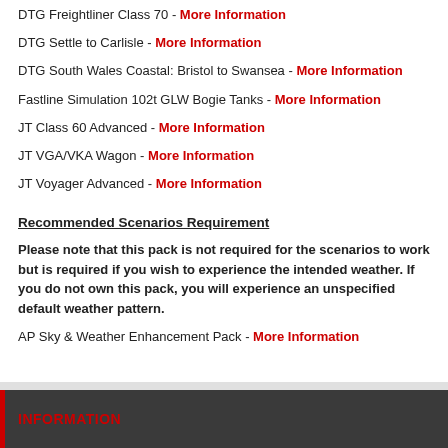DTG Freightliner Class 70 - More Information
DTG Settle to Carlisle - More Information
DTG South Wales Coastal: Bristol to Swansea - More Information
Fastline Simulation 102t GLW Bogie Tanks - More Information
JT Class 60 Advanced - More Information
JT VGA/VKA Wagon - More Information
JT Voyager Advanced - More Information
Recommended Scenarios Requirement
Please note that this pack is not required for the scenarios to work but is required if you wish to experience the intended weather. If you do not own this pack, you will experience an unspecified default weather pattern.
AP Sky & Weather Enhancement Pack - More Information
INFORMATION